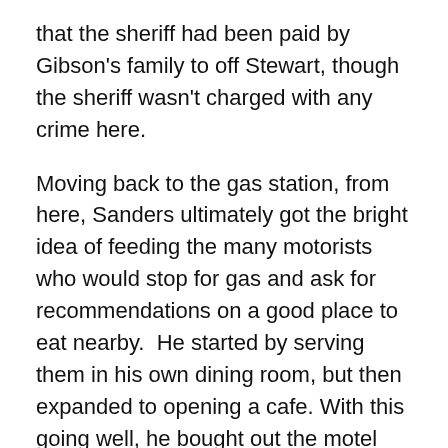that the sheriff had been paid by Gibson's family to off Stewart, though the sheriff wasn't charged with any crime here.
Moving back to the gas station, from here, Sanders ultimately got the bright idea of feeding the many motorists who would stop for gas and ask for recommendations on a good place to eat nearby.  He started by serving them in his own dining room, but then expanded to opening a cafe. With this going well, he bought out the motel across the street and turned it into a 142-seat restaurant.
By 1935 business was booming and the governor of Kentucky, Ruby Laffon, officially bestowed Harland Sanders the title of “Colonel” “in recognition of his contributions to the state’s cuisine.” He would be commonly called “Colonel Sanders” from that point forward.